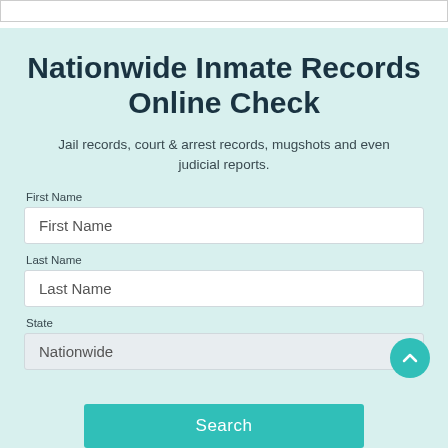Nationwide Inmate Records Online Check
Jail records, court & arrest records, mugshots and even judicial reports.
First Name
Last Name
State
Nationwide
Search